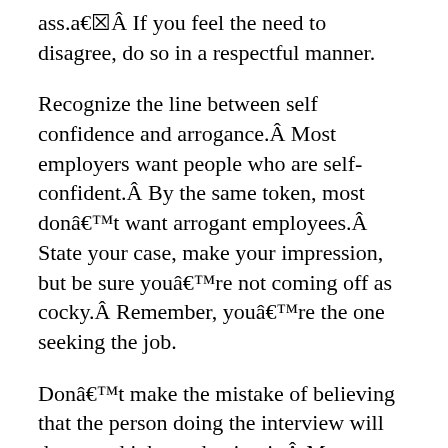ass.â€Â  If you feel the need to disagree, do so in a respectful manner.
Recognize the line between self confidence and arrogance.Â  Most employers want people who are self-confident.Â  By the same token, most donâ€™t want arrogant employees.Â  State your case, make your impression, but be sure youâ€™re not coming off as cocky.Â  Remember, youâ€™re the one seeking the job.
Donâ€™t make the mistake of believing that the person doing the interview will do a good job conducting it.Â  Most people arenâ€™t good at interviewing.Â  Help your future employer bring out the best in you.Â  Donâ€™t allow their inability to conduct an interview...